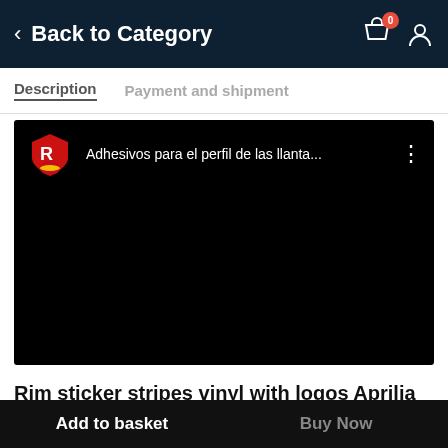Back to Category
Description  Payment and shipment
[Figure (screenshot): Embedded video player on black background with YouTube-style channel logo and title 'Adhesivos para el perfil de las llanta...' with three-dot menu icon]
Rim sticker stripes vinyl with logos Aprilia
Add to basket   Buy Now